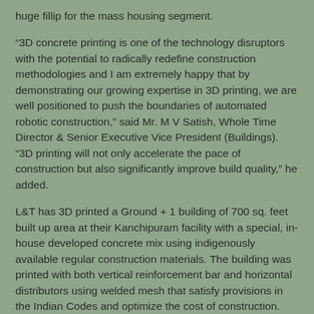huge fillip for the mass housing segment.
“3D concrete printing is one of the technology disruptors with the potential to radically redefine construction methodologies and I am extremely happy that by demonstrating our growing expertise in 3D printing, we are well positioned to push the boundaries of automated robotic construction,” said Mr. M V Satish, Whole Time Director & Senior Executive Vice President (Buildings). “3D printing will not only accelerate the pace of construction but also significantly improve build quality,” he added.
L&T has 3D printed a Ground + 1 building of 700 sq. feet built up area at their Kanchipuram facility with a special, in-house developed concrete mix using indigenously available regular construction materials. The building was printed with both vertical reinforcement bar and horizontal distributors using welded mesh that satisfy provisions in the Indian Codes and optimize the cost of construction.  Except for the horizontal slab members, the entire building structure was 3D printed ‘Cast in Situ’ at the job site in an ‘open to sky’ environment within 106 printing hours, using a fully